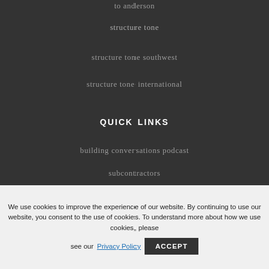to anderson
structure tone
structure tone southwest
structure tone international
QUICK LINKS
building conversations podcast
subcontractors
We use cookies to improve the experience of our website. By continuing to use our website, you consent to the use of cookies. To understand more about how we use cookies, please see our Privacy Policy ACCEPT